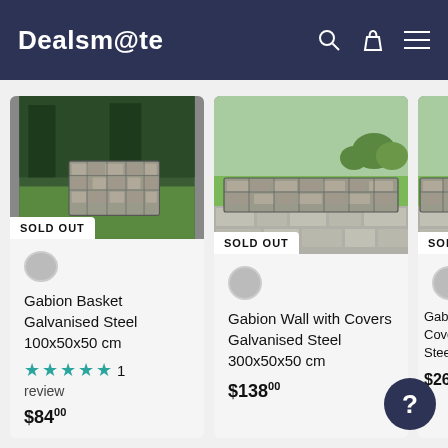Dealsm@te
[Figure (photo): Gabion Basket Galvanised Steel product photo with stone-filled wire basket in garden setting, SOLD OUT badge]
Gabion Basket Galvanised Steel 100x50x50 cm
★★★★★ 1 review
$84.00
[Figure (photo): Gabion Wall with Covers Galvanised Steel product photo with long stone-filled wall on patio, SOLD OUT badge]
Gabion Wall with Covers Galvanised Steel 300x50x50 cm
$138.00
[Figure (photo): Partial third product card photo, SOLD OUT badge visible, price $266]
Gabia Covers Steel (partial)
$266